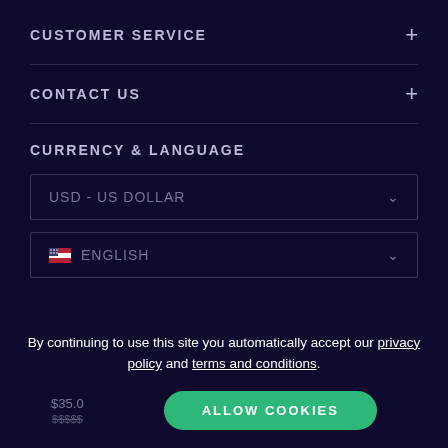CUSTOMER SERVICE
CONTACT US
CURRENCY & LANGUAGE
USD - US DOLLAR
ENGLISH
By continuing to use this site you automatically accept our privacy policy and terms and conditions.
ALLOW COOKIES
$35.0